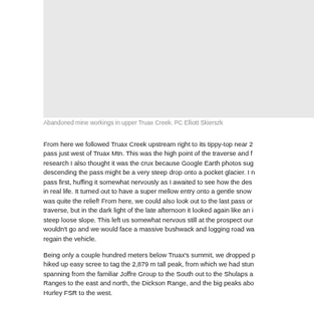[Figure (photo): Abandoned mine workings in upper Truax Creek area, light grey placeholder image]
Abandoned mine workings in upper Truax Creek. PC Elliott Skierszk
From here we followed Truax Creek upstream right to its tippy-top near 2 pass just west of Truax Mtn. This was the high point of the traverse and f research I also thought it was the crux because Google Earth photos sug descending the pass might be a very steep drop onto a pocket glacier. I n pass first, huffing it somewhat nervously as I awaited to see how the des in real life. It turned out to have a super mellow entry onto a gentle snow was quite the relief! From here, we could also look out to the last pass or traverse, but in the dark light of the late afternoon it looked again like an i steep loose slope. This left us somewhat nervous still at the prospect our wouldn't go and we would face a massive bushwack and logging road wa regain the vehicle.
Being only a couple hundred meters below Truax's summit, we dropped p hiked up easy scree to tag the 2,879 m tall peak, from which we had stun spanning from the familiar Joffre Group to the South out to the Shulaps a Ranges to the east and north, the Dickson Range, and the big peaks abo Hurley FSR to the west.